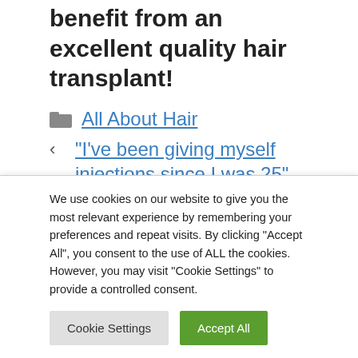benefit from an excellent quality hair transplant!
All About Hair
‹ “I’ve been giving myself injections since I was 25”
› Coconut oil hair mask in 3 recipes with…
We use cookies on our website to give you the most relevant experience by remembering your preferences and repeat visits. By clicking “Accept All”, you consent to the use of ALL the cookies. However, you may visit "Cookie Settings" to provide a controlled consent.